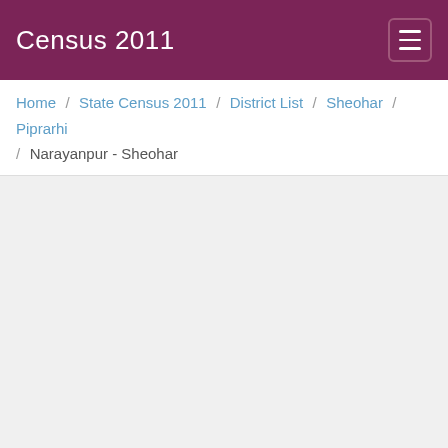Census 2011
Home / State Census 2011 / District List / Sheohar / Piprarhi / Narayanpur - Sheohar